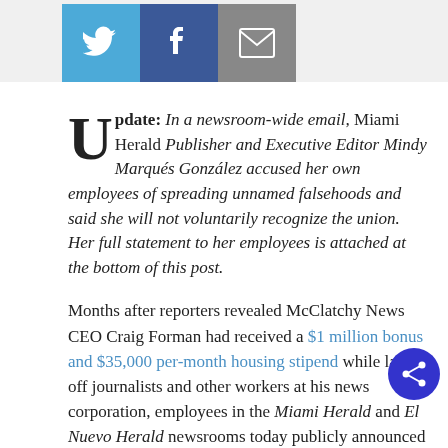[Figure (screenshot): Social sharing buttons: Twitter (blue), Facebook (dark blue), Email (grey)]
Update: In a newsroom-wide email, Miami Herald Publisher and Executive Editor Mindy Marqués González accused her own employees of spreading unnamed falsehoods and said she will not voluntarily recognize the union. Her full statement to her employees is attached at the bottom of this post.
Months after reporters revealed McClatchy News CEO Craig Forman had received a $1 million bonus and $35,000 per-month housing stipend while laying off journalists and other workers at his news corporation, employees in the Miami Herald and El Nuevo Herald newsrooms today publicly announced they plan to unionize.
"Our journalism is strong when our journalists are strong," the newly named One Herald Guild announced, t